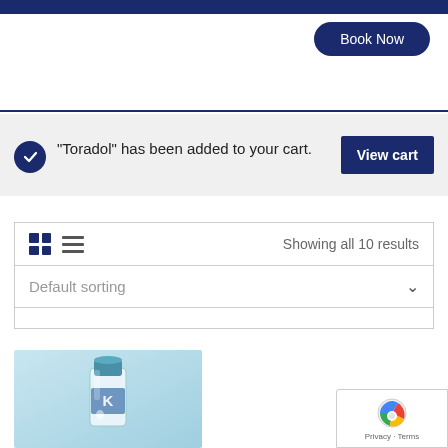Book Now
"Toradol" has been added to your cart.
View cart
Showing all 10 results
Default sorting
[Figure (photo): A medical vial/bottle with blue label on a light blue background, showing what appears to be a Toradol injection vial]